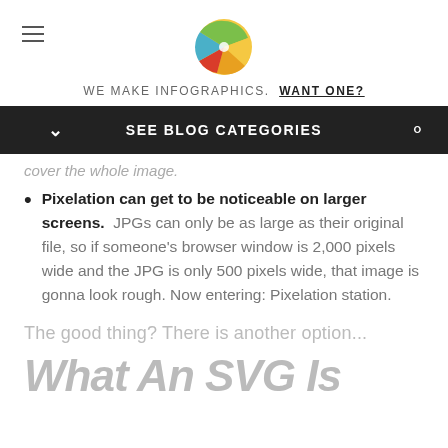WE MAKE INFOGRAPHICS. WANT ONE?
SEE BLOG CATEGORIES
cover the whole image.
Pixelation can get to be noticeable on larger screens. JPGs can only be as large as their original file, so if someone's browser window is 2,000 pixels wide and the JPG is only 500 pixels wide, that image is gonna look rough. Now entering: Pixelation station.
The good thing? There is another option...
What An SVG Is